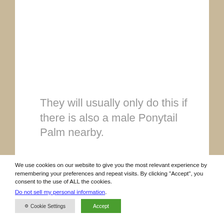They will usually only do this if there is also a male Ponytail Palm nearby.
We use cookies on our website to give you the most relevant experience by remembering your preferences and repeat visits. By clicking “Accept”, you consent to the use of ALL the cookies.
Do not sell my personal information.